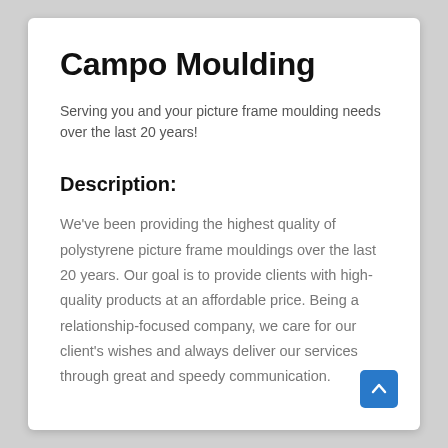Campo Moulding
Serving you and your picture frame moulding needs over the last 20 years!
Description:
We've been providing the highest quality of polystyrene picture frame mouldings over the last 20 years. Our goal is to provide clients with high-quality products at an affordable price. Being a relationship-focused company, we care for our client's wishes and always deliver our services through great and speedy communication.